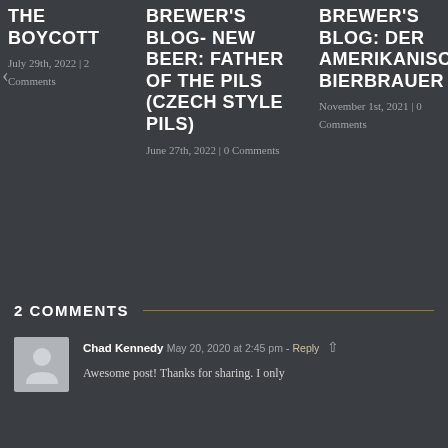THE BOYCOTT
July 29th, 2022 | 2 Comments
BREWER'S BLOG- NEW BEER: FATHER OF THE PILS (CZECH STYLE PILS)
June 27th, 2022 | 0 Comments
BREWER'S BLOG: DER AMERIKANISCHE BIERBRAUER
November 1st, 2021 | 0 Comments
2 COMMENTS
Chad Kennedy May 20, 2020 at 2:45 pm - Reply
Awesome post! Thanks for sharing. I only